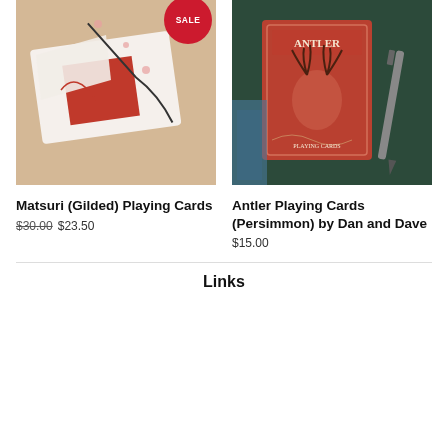[Figure (photo): Matsuri (Gilded) Playing Cards box opened showing red interior, with cherry blossom artwork, SALE badge overlay]
[Figure (photo): Antler Playing Cards (Persimmon) by Dan and Dave, red deck box with deer illustration on green felt next to a pen]
Matsuri (Gilded) Playing Cards
$30.00 $23.50
Antler Playing Cards (Persimmon) by Dan and Dave
$15.00
Links